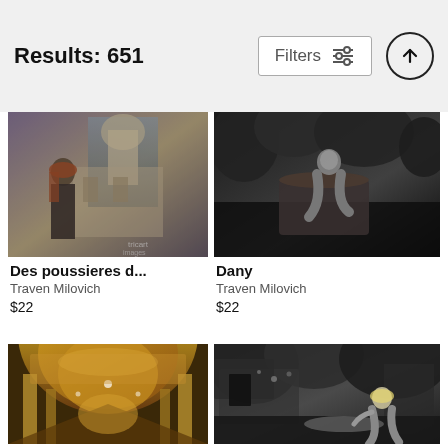Results: 651
[Figure (screenshot): Search results grid showing photography prints for sale. Header shows Results: 651 with a Filters button and an up-arrow icon.]
[Figure (photo): Dark moody photo of a red-haired woman standing in front of an ornate historic building. Vintage/gothic aesthetic.]
Des poussieres d...
Traven Milovich
$22
[Figure (photo): Black and white fine art nude photography of a figure seated on a large tree stump outdoors in a forest setting.]
Dany
Traven Milovich
$22
[Figure (photo): Colorful interior of an ornate baroque church or cathedral with gilded arches, frescoes, and chandeliers viewed down the nave.]
[Figure (photo): Black and white photo of a blonde woman posing outdoors near an overgrown ruined stone building, wearing bikini.]